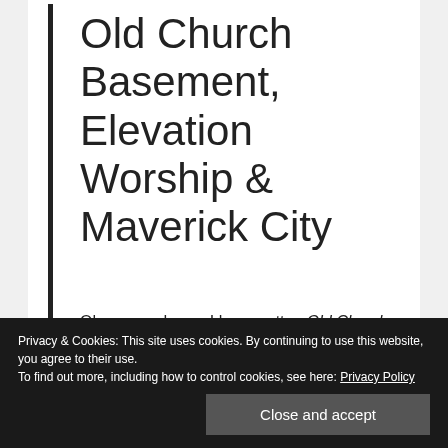Old Church Basement, Elevation Worship & Maverick City
Oh my goodness, I have gotten Old Church Basement by Elevation Worship and Maverick City stuck in my head the last few weeks.
Privacy & Cookies: This site uses cookies. By continuing to use this website, you agree to their use.
To find out more, including how to control cookies, see here: Privacy Policy
Close and accept